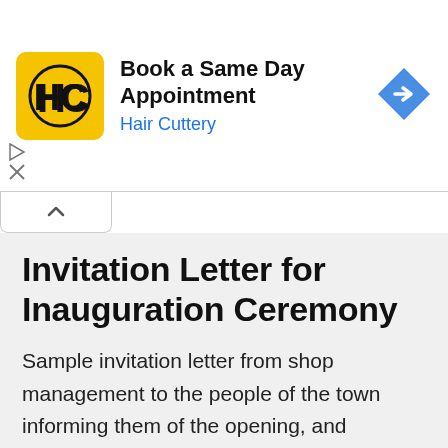[Figure (logo): Hair Cuttery ad banner with HC logo, 'Book a Same Day Appointment' heading, 'Hair Cuttery' subheading, and blue diamond arrow icon]
Invitation Letter for Inauguration Ceremony
Sample invitation letter from shop management to the people of the town informing them of the opening, and inauguration of new shop along with some discount offers. Sample invitation letter for